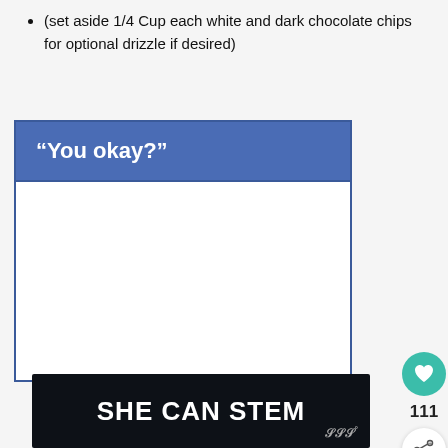(set aside 1/4 Cup each white and dark chocolate chips for optional drizzle if desired)
[Figure (screenshot): Blue banner with white bold text reading “You okay?” followed by a white content area below it]
[Figure (infographic): Sidebar UI elements: teal heart button, count 111, share button]
[Figure (infographic): What's Next card with food thumbnail and text 'Sourdough White...']
[Figure (infographic): Dark advertisement banner with white bold text 'SHE CAN STEM' and a logo on the right]